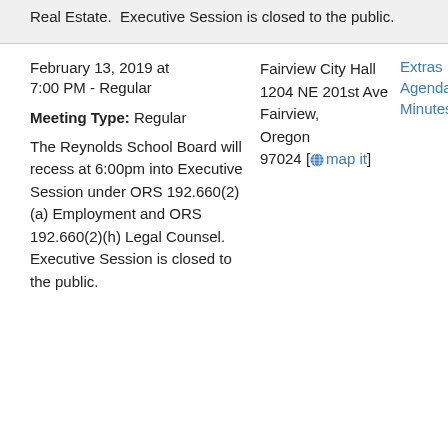Real Estate.  Executive Session is closed to the public.
February 13, 2019 at 7:00 PM - Regular
Meeting Type: Regular
The Reynolds School Board will recess at 6:00pm into Executive Session under ORS 192.660(2)(a) Employment and ORS 192.660(2)(h) Legal Counsel.  Executive Session is closed to the public.
Fairview City Hall
1204 NE 201st Ave
Fairview, Oregon 97024 [map it]
Extras
Agenda
Minutes